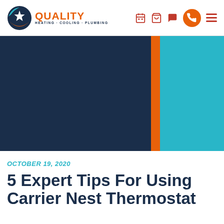QUALITY HEATING · COOLING · PLUMBING — navigation header with calendar, cart, chat, phone, and menu icons
[Figure (illustration): Hero banner with dark navy left panel (approx 67% width), a narrow orange vertical stripe, and a cyan/teal right panel]
OCTOBER 19, 2020
5 Expert Tips For Using Carrier Nest Thermostat